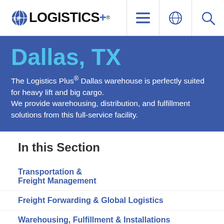[Figure (logo): Logistics Plus logo with globe icon and blue plus sign]
Dallas, TX
The Logistics Plus® Dallas warehouse is perfectly suited for heavy lift and big cargo. We provide warehousing, distribution, and fulfillment solutions from this full-service facility.
In this Section
Transportation & Freight Management
Freight Forwarding & Global Logistics
Warehousing, Fulfillment & Installations